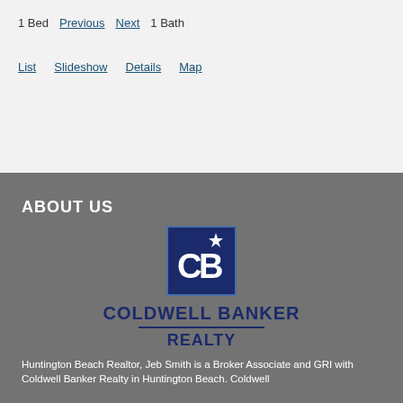1 Bed   Previous   Next   1 Bath
List   Slideshow   Details   Map
ABOUT US
[Figure (logo): Coldwell Banker Realty logo — dark blue square with CB monogram and star, with COLDWELL BANKER REALTY text below]
Huntington Beach Realtor, Jeb Smith is a Broker Associate and GRI with Coldwell Banker Realty in Huntington Beach. Coldwell